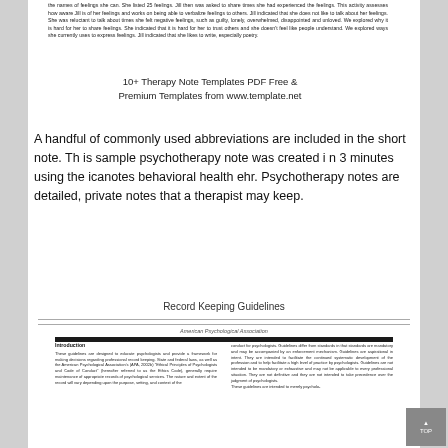the names of feelings she can. She listed 25 feelings. Jill then was asked to share times she had experienced the feelings. This activity assesses how aware Jill is of her feelings and works on being able to verbalize feelings to others. Jill indicated that she does not like to talk about her feelings. She was reluctant to talk about times she felt negative feelings, such as guilty, lonely, overwhelmed, disappointed and unloved. We explored why it is hard for her to share feelings. She indicated that it is hard for her to trust others and she doesn't feel like people understand. We explored ways she currently uses to express feelings. Jill indicated that she likes to write, especially poetry.
10+ Therapy Note Templates PDF Free & Premium Templates from www.template.net
A handful of commonly used abbreviations are included in the short note. Th is sample psychotherapy note was created i n 3 minutes using the icanotes behavioral health ehr. Psychotherapy notes are detailed, private notes that a therapist may keep.
[Figure (screenshot): Preview of a document titled 'Record Keeping Guidelines' published by the American Psychological Association. The document has a bold black horizontal bar at the top followed by two-column text with an Introduction section on the left and corresponding text on the right.]